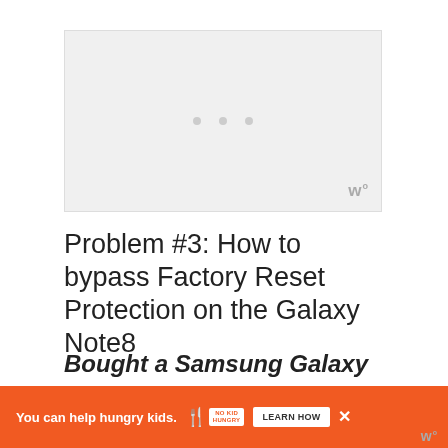[Figure (screenshot): Video/media placeholder area with light gray background and playback control dots]
Problem #3: How to bypass Factory Reset Protection on the Galaxy Note8
Bought a Samsung Galaxy NOte 8 out of offer up. When I tried to set it all up it's asking for the previous Google
[Figure (other): Advertisement banner: orange background, 'You can help hungry kids. NO KID HUNGRY LEARN HOW' with close button]